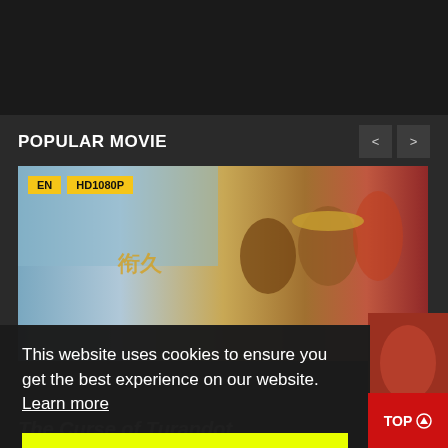POPULAR MOVIE
[Figure (screenshot): Movie banner showing The Curse of Turandot with EN and HD1080P badges. Three characters visible: a man in a wide-brimmed hat, a woman, and another figure. Fantasy/action setting.]
This website uses cookies to ensure you get the best experience on our website. Learn more
Got it!
The Curse of Turandot